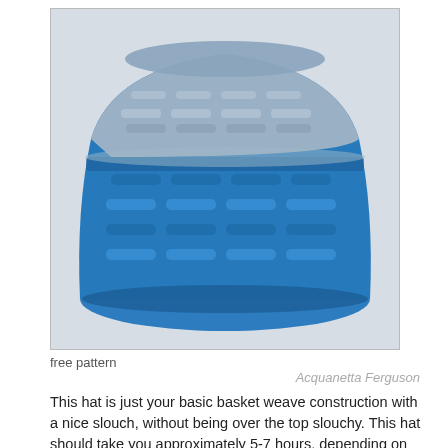[Figure (photo): A crocheted basket weave slouch hat with two-tone coloring: light grey/silver on the top portion and bright blue on the lower portion, displayed against a light background.]
free pattern
Acquanetta Ferguson
This hat is just your basic basket weave construction with a nice slouch, without being over the top slouchy. This hat should take you approximately 5-7 hours, depending on your level of experience. Gauge is